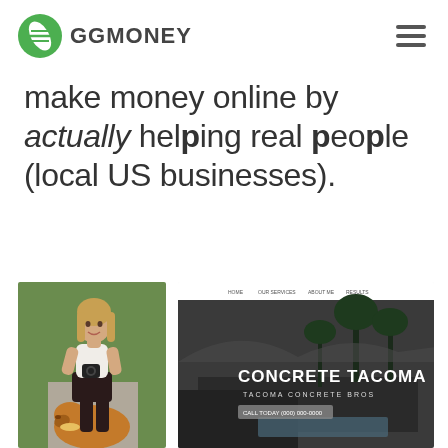GGMONEY
make money online by actually helping real people (local US businesses).
[Figure (photo): Young woman with long blonde hair standing outdoors with a golden retriever dog, holding a camera, wearing a white top and dark skirt, green foliage in background]
[Figure (screenshot): Screenshot of a website for 'Concrete Tacoma' showing a dark hero image of a mid-century modern house with palm trees and a pool, with navigation menu and text 'CONCRETE TACOMA' and 'TACOMA CONCRETE BROS', call to action button visible]